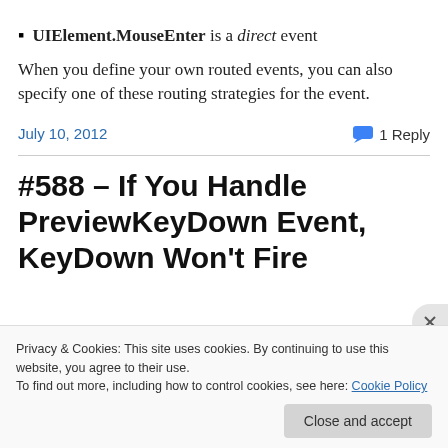UIElement.MouseEnter is a direct event
When you define your own routed events, you can also specify one of these routing strategies for the event.
July 10, 2012
1 Reply
#588 – If You Handle PreviewKeyDown Event, KeyDown Won't Fire
Privacy & Cookies: This site uses cookies. By continuing to use this website, you agree to their use.
To find out more, including how to control cookies, see here: Cookie Policy
Close and accept